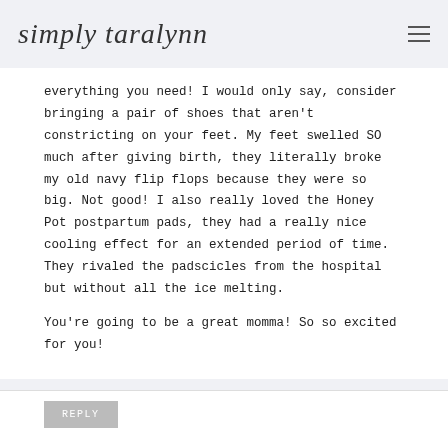simply taralynn
everything you need!  I would only say, consider bringing a pair of shoes that aren't constricting on your feet. My feet swelled SO much after giving birth, they literally broke my old navy flip flops because they were so big. Not good! I also really loved the Honey Pot postpartum pads, they had a really nice cooling effect for an extended period of time. They rivaled the padscicles from the hospital but without all the ice melting.

You're going to be a great momma! So so excited for you!
REPLY